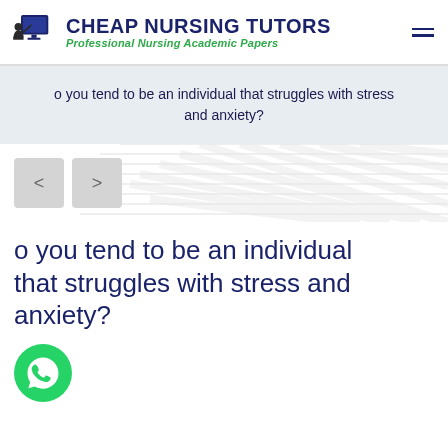[Figure (logo): Cheap Nursing Tutors logo with person at computer icon, site title and tagline]
o you tend to be an individual that struggles with stress and anxiety?
[Figure (other): Slider navigation buttons with left and right chevrons on diagonal lines background]
o you tend to be an individual that struggles with stress and anxiety?
[Figure (other): WhatsApp contact icon (green circle with phone handset)]